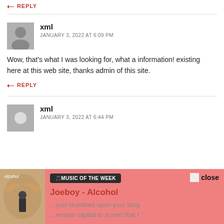This text is invaluable! Where can I find out more?
REPLY
xml
JANUARY 3, 2022 AT 6:09 PM
Wow, that's what I was looking for, what a information! existing here at this web site, thanks admin of this site.
REPLY
xml
JANUARY 3, 2022 AT 6:44 PM
🎵MUSIC OF THE WEEK
Joeboy - Alcohol
close